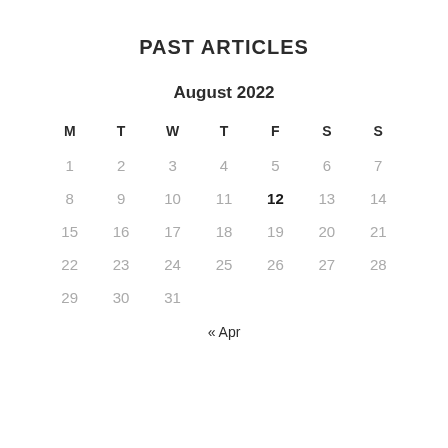PAST ARTICLES
| M | T | W | T | F | S | S |
| --- | --- | --- | --- | --- | --- | --- |
| 1 | 2 | 3 | 4 | 5 | 6 | 7 |
| 8 | 9 | 10 | 11 | 12 | 13 | 14 |
| 15 | 16 | 17 | 18 | 19 | 20 | 21 |
| 22 | 23 | 24 | 25 | 26 | 27 | 28 |
| 29 | 30 | 31 |  |  |  |  |
« Apr